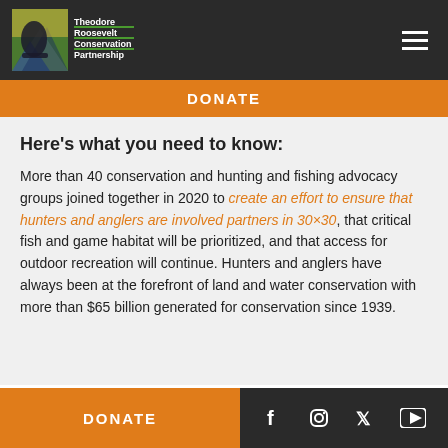Theodore Roosevelt Conservation Partnership
DONATE
Here's what you need to know:
More than 40 conservation and hunting and fishing advocacy groups joined together in 2020 to create an effort to ensure that hunters and anglers are involved partners in 30×30, that critical fish and game habitat will be prioritized, and that access for outdoor recreation will continue. Hunters and anglers have always been at the forefront of land and water conservation with more than $65 billion generated for conservation since 1939.
DONATE